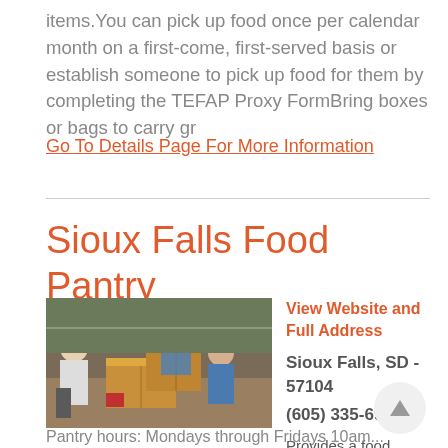items.You can pick up food once per calendar month on a first-come, first-served basis or establish someone to pick up food for them by completing the TEFAP Proxy FormBring boxes or bags to carry gr
Go To Details Page For More Information
Sioux Falls Food Pantry
[Figure (photo): Photo of volunteers sorting food donations in cardboard boxes at a food pantry]
View Website and Full Address
Sioux Falls, SD - 57104
(605) 335-6921
Provides a food pantry.
Pantry hours: Mondays through Fridays 10am...